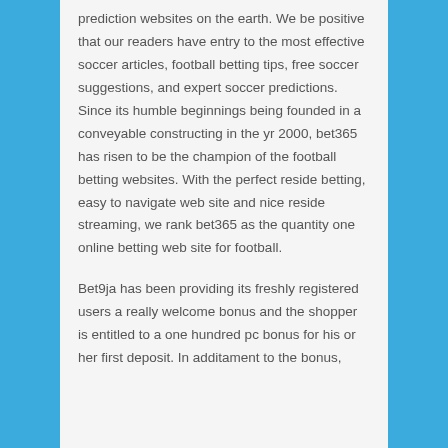prediction websites on the earth. We be positive that our readers have entry to the most effective soccer articles, football betting tips, free soccer suggestions, and expert soccer predictions. Since its humble beginnings being founded in a conveyable constructing in the yr 2000, bet365 has risen to be the champion of the football betting websites. With the perfect reside betting, easy to navigate web site and nice reside streaming, we rank bet365 as the quantity one online betting web site for football.
Bet9ja has been providing its freshly registered users a really welcome bonus and the shopper is entitled to a one hundred pc bonus for his or her first deposit. In additament to the bonus, excellent promotions for more than the...